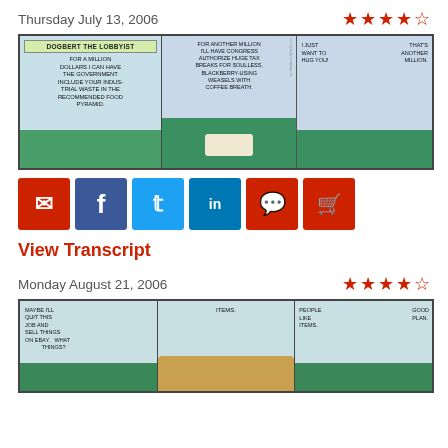Thursday July 13, 2006
[Figure (illustration): Dilbert comic strip: Dogbert the Lobbyist. Panel 1: For a million dollars I can have the government include your industrial waste in the recommended food pyramid. Panel 2: For another million I'll have congress authorize huge tax breaks for soulless, blackberry-using weasels with coffee breath. Panel 3: I just want to hug you! That's another million.]
[Figure (infographic): Social sharing buttons: email, Facebook, Twitter, LinkedIn, comment, cart]
View Transcript
Monday August 21, 2006
[Figure (illustration): Dilbert comic strip. Panel 1: Maybe I'll quit this job and sell things on eBay. What things? Panel 2: Items. Panel 3: People like items. Good plan.]